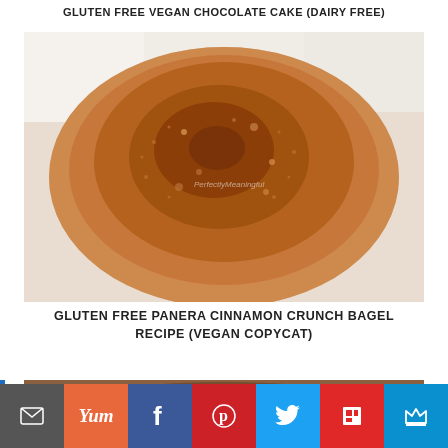GLUTEN FREE VEGAN CHOCOLATE CAKE (DAIRY FREE)
[Figure (photo): Close-up photo of a gluten free cinnamon crunch bagel with brown sugar topping on white parchment paper]
GLUTEN FREE PANERA CINNAMON CRUNCH BAGEL RECIPE (VEGAN COPYCAT)
[Figure (photo): Partial photo of another food item at bottom of page]
[Figure (infographic): Social sharing toolbar with email, Yum, Facebook, Pinterest, Twitter, Flipboard, and crown/bookmark icons]